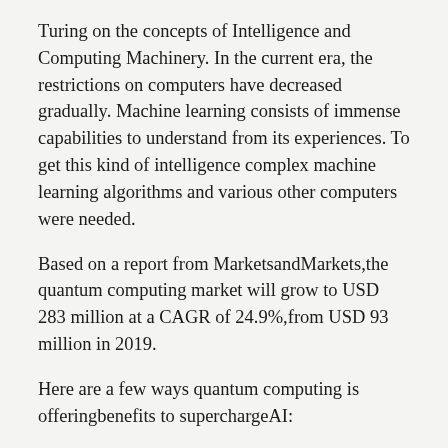Turing on the concepts of Intelligence and Computing Machinery. In the current era, the restrictions on computers have decreased gradually. Machine learning consists of immense capabilities to understand from its experiences. To get this kind of intelligence complex machine learning algorithms and various other computers were needed.
Based on a report from MarketsandMarkets,the quantum computing market will grow to USD 283 million at a CAGR of 24.9%,from USD 93 million in 2019.
Here are a few ways quantum computing is offeringbenefits to superchargeAI:
Quick problem